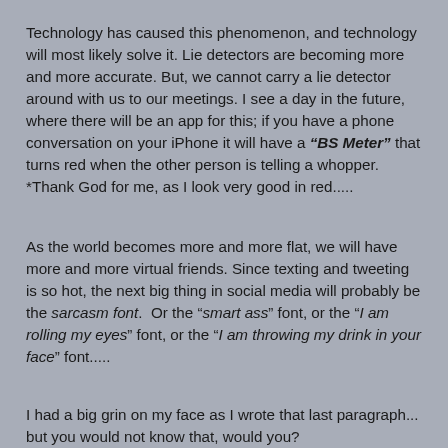Technology has caused this phenomenon, and technology will most likely solve it. Lie detectors are becoming more and more accurate. But, we cannot carry a lie detector around with us to our meetings. I see a day in the future, where there will be an app for this; if you have a phone conversation on your iPhone it will have a “BS Meter” that turns red when the other person is telling a whopper.  *Thank God for me, as I look very good in red.....
As the world becomes more and more flat, we will have more and more virtual friends. Since texting and tweeting is so hot, the next big thing in social media will probably be the sarcasm font.  Or the “smart ass” font, or the “I am rolling my eyes” font, or the “I am throwing my drink in your face” font.....
I had a big grin on my face as I wrote that last paragraph... but you would not know that, would you?